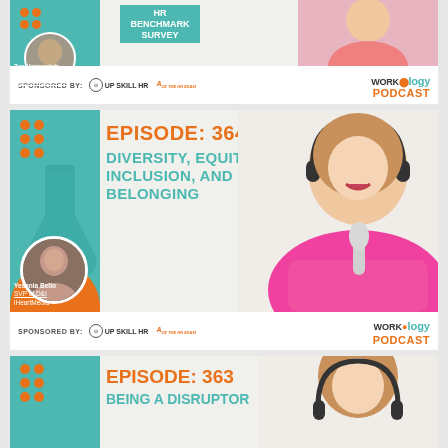[Figure (illustration): Workology Podcast Episode card (top, partially visible) showing guest Zoe Haimovitch, Sr. Director Communications and Strategic Projects at Hibob. Sponsored by Up Skill HR and Ace the HR Exam. Workology Podcast logo visible.]
[Figure (illustration): Workology Podcast Episode 364 card: Diversity, Equity, Inclusion, and Belonging. Guest: Yesenia Bello, SVP of D&I, iHeartMedia. Host with headphones photo on right. Sponsored by Up Skill HR and Ace the HR Exam.]
[Figure (illustration): Workology Podcast Episode 363 card (partially visible at bottom): Being a Disruptor. Host with headphones photo partially visible.]